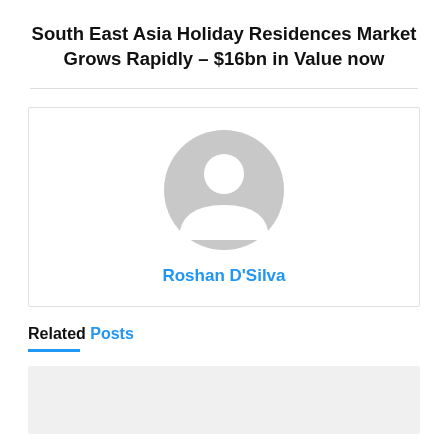South East Asia Holiday Residences Market Grows Rapidly – $16bn in Value now
[Figure (illustration): Generic user avatar placeholder icon (grey silhouette of a person)]
Roshan D'Silva
Related Posts